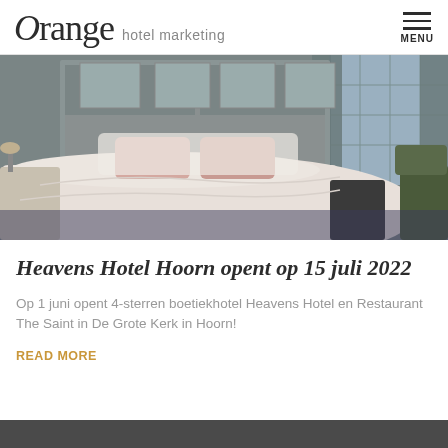Orange hotel marketing
[Figure (photo): Hotel room interior showing a neatly made bed with white duvet and pink pillows, decorative headboard with pattern, curtains, wall sconces, and a green chair to the right. Windows visible in background.]
Heavens Hotel Hoorn opent op 15 juli 2022
Op 1 juni opent 4-sterren boetiekhotel Heavens Hotel en Restaurant The Saint in De Grote Kerk in Hoorn!
READ MORE